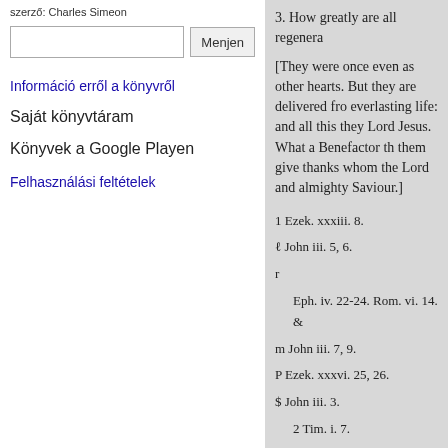szerző: Charles Simeon
Menjen
Információ erről a könyvről
Saját könyvtáram
Könyvek a Google Playen
Felhasználási feltételek
3. How greatly are all regenera
[They were once even as other hearts. But they are delivered fro everlasting life: and all this they Lord Jesus. What a Benefactor th them give thanks whom the Lord and almighty Saviour.]
1 Ezek. xxxiii. 8.
ℓ John iii. 5, 6.
r
Eph. iv. 22-24. Rom. vi. 14. &
m John iii. 7, 9.
P Ezek. xxxvi. 25, 26.
$ John iii. 3.
2 Tim. i. 7.